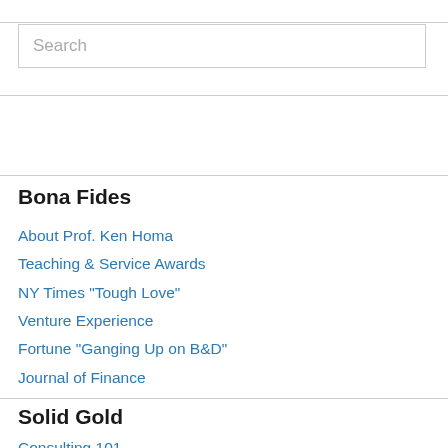[Figure (other): Search input box with placeholder text 'Search']
Bona Fides
About Prof. Ken Homa
Teaching & Service Awards
NY Times "Tough Love"
Venture Experience
Fortune "Ganging Up on B&D"
Journal of Finance
Solid Gold
Consulting 101